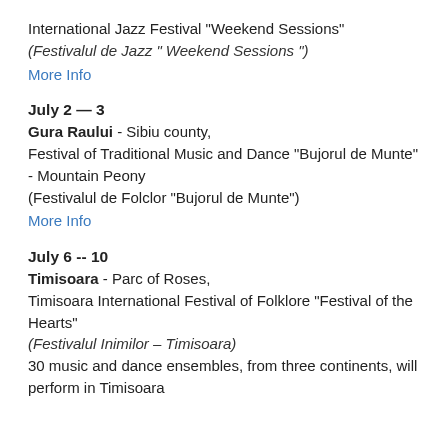International Jazz Festival "Weekend Sessions"
(Festivalul de Jazz " Weekend Sessions ")
More Info
July 2 — 3
Gura Raului - Sibiu county,
Festival of Traditional Music and Dance "Bujorul de Munte" - Mountain Peony
(Festivalul de Folclor "Bujorul de Munte")
More Info
July 6 -- 10
Timisoara - Parc of Roses,
Timisoara International Festival of Folklore "Festival of the Hearts"
(Festivalul Inimilor – Timisoara)
30 music and dance ensembles, from three continents, will perform in Timisoara